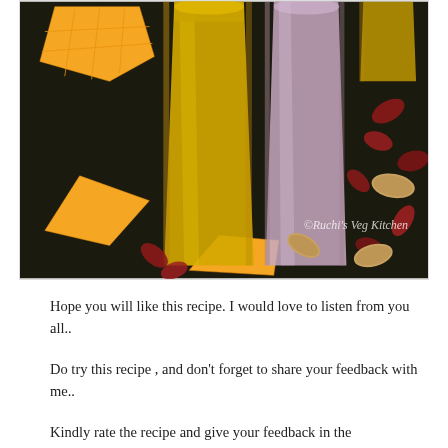[Figure (photo): Food photography showing two tall glasses of smoothies/milkshakes (one yellow mango, one pink/purple), surrounded by fresh mango chunks, almonds, and rose petals on a dark wooden surface. Watermark reads '© Ruchi's Veg Kitchen'.]
Hope you will like this recipe. I would love to listen from you all..
Do try this recipe , and don't forget to share your feedback with me..
Kindly rate the recipe and give your feedback in the